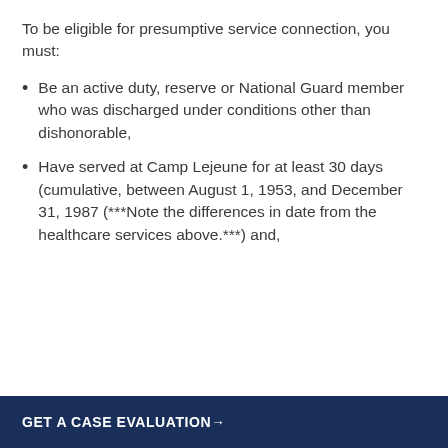To be eligible for presumptive service connection, you must:
Be an active duty, reserve or National Guard member who was discharged under conditions other than dishonorable,
Have served at Camp Lejeune for at least 30 days (cumulative, between August 1, 1953, and December 31, 1987 (***Note the differences in date from the healthcare services above.***) and,
GET A CASE EVALUATION→